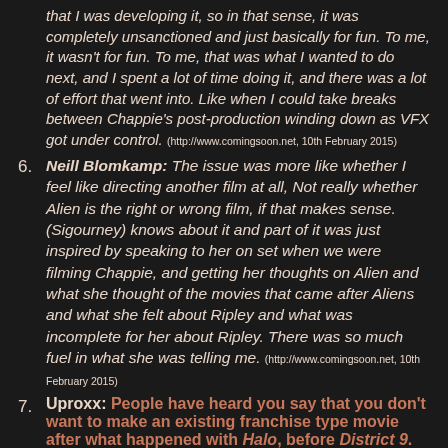that I was developing it, so in that sense, it was completely unsanctioned and just basically for fun. To me, it wasn't for fun. To me, that was what I wanted to do next, and I spent a lot of time doing it, and there was a lot of effort that went into. Like when I could take breaks between Chappie's post-production winding down as VFX got under control. (http://www.comingsoon.net, 10th February 2015)
6. Neill Blomkamp: The issue was more like whether I feel like directing another film at all, Not really whether Alien is the right or wrong film, if that makes sense. (Sigourney) knows about it and part of it was just inspired by speaking to her on set when we were filming Chappie, and getting her thoughts on Alien and what she thought of the movies that came after Aliens and what she felt about Ripley and what was incomplete for her about Ripley. There was so much fuel in what she was telling me. (http://www.comingsoon.net, 10th February 2015)
7. Uproxx: People have heard you say that you don't want to make an existing franchise type movie after what happened with Halo, before District 9.